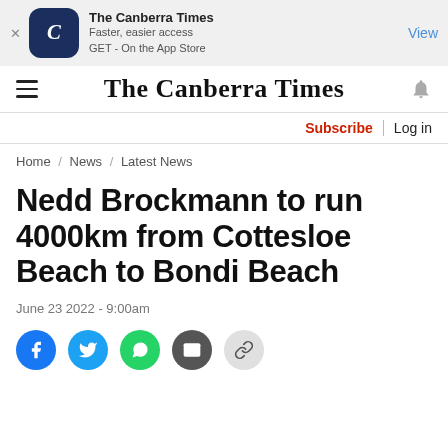The Canberra Times — Faster, easier access GET - On the App Store — View
The Canberra Times
Subscribe | Log in
Home / News / Latest News
Nedd Brockmann to run 4000km from Cottesloe Beach to Bondi Beach
June 23 2022 - 9:00am
[Figure (other): Social share icons: Facebook, Twitter, WhatsApp, Email, Link]